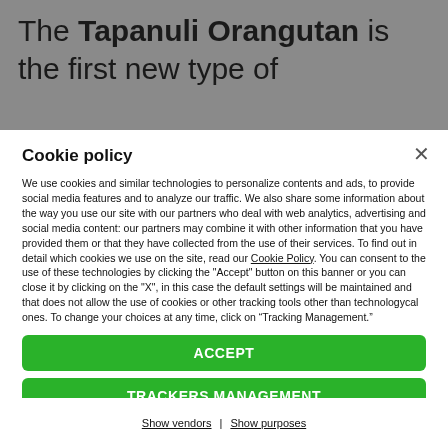The Tapanuli Orangutan is the first new type of ...
Cookie policy
We use cookies and similar technologies to personalize contents and ads, to provide social media features and to analyze our traffic. We also share some information about the way you use our site with our partners who deal with web analytics, advertising and social media content: our partners may combine it with other information that you have provided them or that they have collected from the use of their services. To find out in detail which cookies we use on the site, read our Cookie Policy. You can consent to the use of these technologies by clicking the "Accept" button on this banner or you can close it by clicking on the "X", in this case the default settings will be maintained and that does not allow the use of cookies or other tracking tools other than technologycal ones. To change your choices at any time, click on “Tracking Management.”
ACCEPT
TRACKERS MANAGEMENT
Show vendors | Show purposes